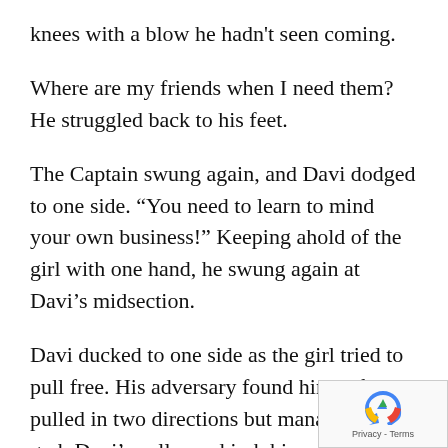knees with a blow he hadn't seen coming.
Where are my friends when I need them? He struggled back to his feet.
The Captain swung again, and Davi dodged to one side. “You need to learn to mind your own business!” Keeping ahold of the girl with one hand, he swung again at Davi’s midsection.
Davi ducked to one side as the girl tried to pull free. His adversary found himself pulled in two directions but managed to grab Davi’s collar and jerk him roughly off his feet.
As the Captain pulled Davi closer and closer, the g the Captain, who yelled and flinched, letting her g Davi tried to escape the army to pull himself free, de